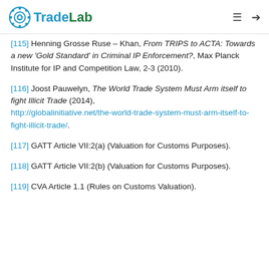TradeLab
[115] Henning Grosse Ruse – Khan, From TRIPS to ACTA: Towards a new 'Gold Standard' in Criminal IP Enforcement?, Max Planck Institute for IP and Competition Law, 2-3 (2010).
[116] Joost Pauwelyn, The World Trade System Must Arm itself to fight Illicit Trade (2014), http://globalinitiative.net/the-world-trade-system-must-arm-itself-to-fight-illicit-trade/.
[117] GATT Article VII:2(a) (Valuation for Customs Purposes).
[118] GATT Article VII:2(b) (Valuation for Customs Purposes).
[119] CVA Article 1.1 (Rules on Customs Valuation).